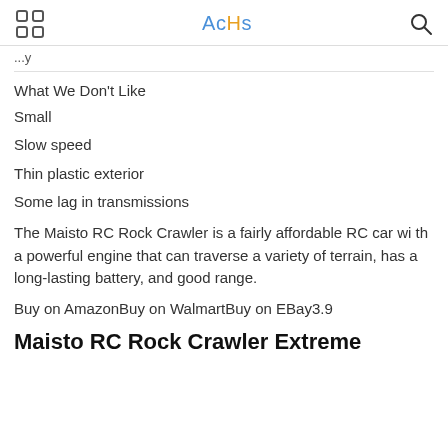AcHs
...y
What We Don't Like
Small
Slow speed
Thin plastic exterior
Some lag in transmissions
The Maisto RC Rock Crawler is a fairly affordable RC car with a powerful engine that can traverse a variety of terrain, has a long-lasting battery, and good range.
Buy on AmazonBuy on WalmartBuy on EBay3.9
Maisto RC Rock Crawler Extreme